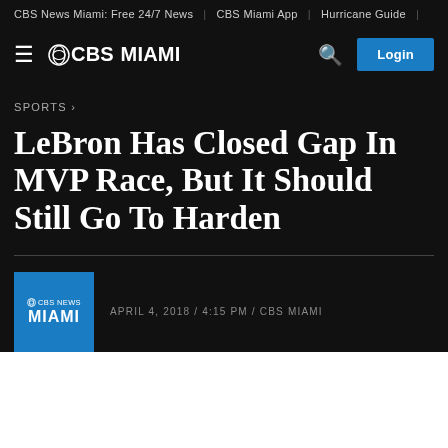CBS News Miami: Free 24/7 News | CBS Miami App | Hurricane Guide
[Figure (logo): CBS Miami navigation bar with hamburger menu, CBS Miami logo, search icon, and Login button]
SPORTS >
LeBron Has Closed Gap In MVP Race, But It Should Still Go To Harden
APRIL 4, 2018 / 4:15 PM / CBS MIAMI